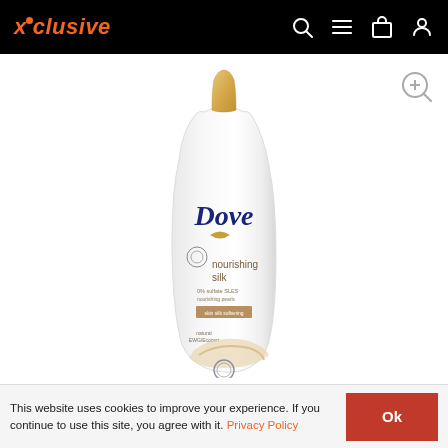xclusive — navigation header with search, menu, cart, and account icons
[Figure (photo): Dove Nourishing Silk body wash bottle, white bottle with gold cap, showing Dove logo, nourishing silk label, and creamy swirl design]
This website uses cookies to improve your experience. If you continue to use this site, you agree with it. Privacy Policy